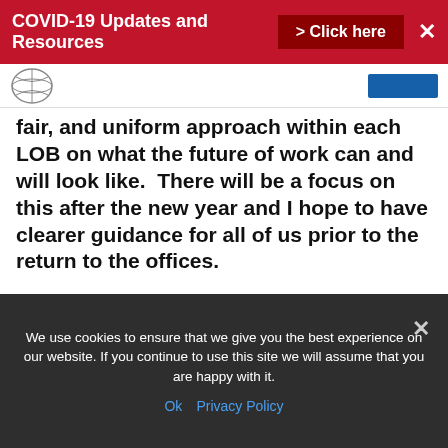COVID-19 Updates and Resources > Click here
fair, and uniform approach within each LOB on what the future of work can and will look like.  There will be a focus on this after the new year and I hope to have clearer guidance for all of us prior to the return to the offices.
How realistic is the return to the offices for Region X in February?  Well – there needs to be a plan – and right now those dates are what the agency is planning for.  However, with the explosion of cases
We use cookies to ensure that we give you the best experience on our website. If you continue to use this site we will assume that you are happy with it.
Ok  Privacy Policy